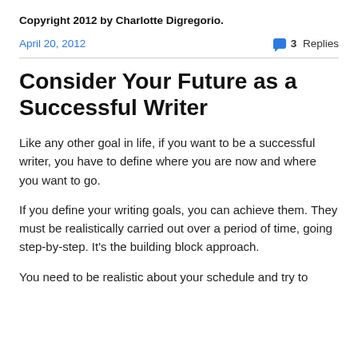Copyright 2012 by Charlotte Digregorio.
April 20, 2012
3 Replies
Consider Your Future as a Successful Writer
Like any other goal in life, if you want to be a successful writer, you have to define where you are now and where you want to go.
If you define your writing goals, you can achieve them. They must be realistically carried out over a period of time, going step-by-step. It's the building block approach.
You need to be realistic about your schedule and try to